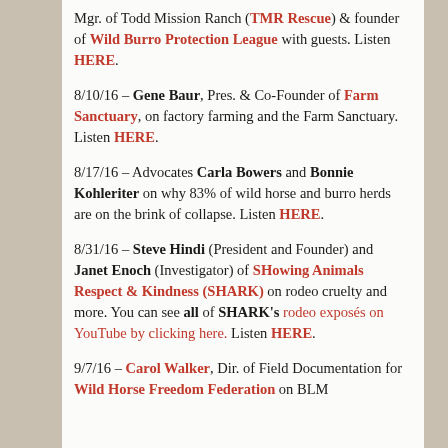Mgr. of Todd Mission Ranch (TMR Rescue) & founder of Wild Burro Protection League with guests. Listen HERE.
8/10/16 – Gene Baur, Pres. & Co-Founder of Farm Sanctuary, on factory farming and the Farm Sanctuary. Listen HERE.
8/17/16 – Advocates Carla Bowers and Bonnie Kohleriter on why 83% of wild horse and burro herds are on the brink of collapse. Listen HERE.
8/31/16 – Steve Hindi (President and Founder) and Janet Enoch (Investigator) of SHowing Animals Respect & Kindness (SHARK) on rodeo cruelty and more. You can see all of SHARK's rodeo exposés on YouTube by clicking here. Listen HERE.
9/7/16 – Carol Walker, Dir. of Field Documentation for Wild Horse Freedom Federation on BLM...